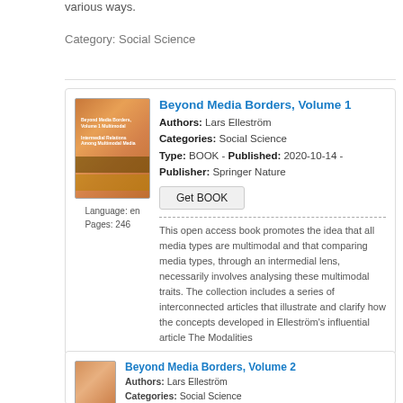various ways.
Category: Social Science
[Figure (illustration): Book listing card for Beyond Media Borders Volume 1 with cover image]
Beyond Media Borders, Volume 1
Authors: Lars Elleström
Categories: Social Science
Type: BOOK - Published: 2020-10-14 - Publisher: Springer Nature
Language: en
Pages: 246
This open access book promotes the idea that all media types are multimodal and that comparing media types, through an intermedial lens, necessarily involves analysing these multimodal traits. The collection includes a series of interconnected articles that illustrate and clarify how the concepts developed in Elleström's influential article The Modalities
[Figure (illustration): Book listing card for Beyond Media Borders Volume 2 with cover image]
Beyond Media Borders, Volume 2
Authors: Lars Elleström
Categories: Social Science